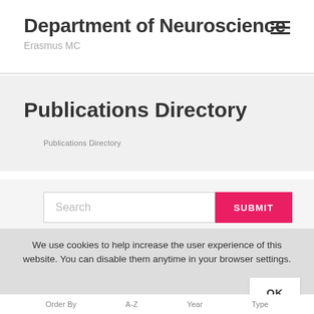Department of Neuroscience
Erasmus MC
Publications Directory
Publications Directory
Search
SUBMIT
We use cookies to help increase the user experience of this website. You can disable them anytime in your browser settings.
OK
Order By    A-Z    Year    Type